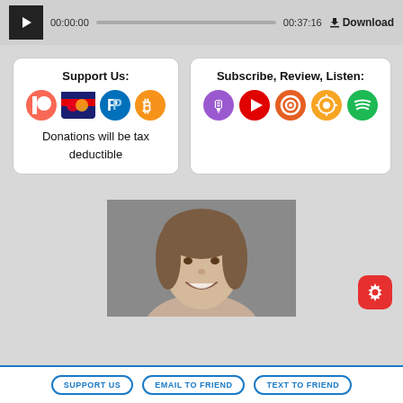[Figure (screenshot): Audio player bar with play button, time 00:00:00, progress bar, end time 00:37:16, and Download button]
Support Us:
[Figure (infographic): Support icons: Patreon, credit card, PayPal, Bitcoin]
Donations will be tax deductible
Subscribe, Review, Listen:
[Figure (infographic): Subscribe icons: Apple Podcasts, YouTube, Pocket Casts, Overcast, Spotify]
[Figure (photo): Headshot of a young woman with brown hair, smiling, against a gray background]
SUPPORT US
EMAIL TO FRIEND
TEXT TO FRIEND